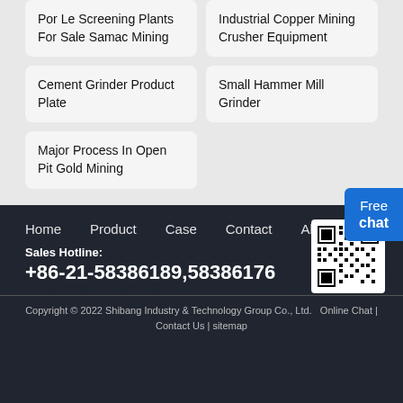Por Le Screening Plants For Sale Samac Mining
Industrial Copper Mining Crusher Equipment
Cement Grinder Product Plate
Small Hammer Mill Grinder
Major Process In Open Pit Gold Mining
Free chat
Home   Product   Case   Contact   About
Sales Hotline:
+86-21-58386189,58386176
Copyright © 2022 Shibang Industry & Technology Group Co., Ltd.   Online Chat | Contact Us | sitemap